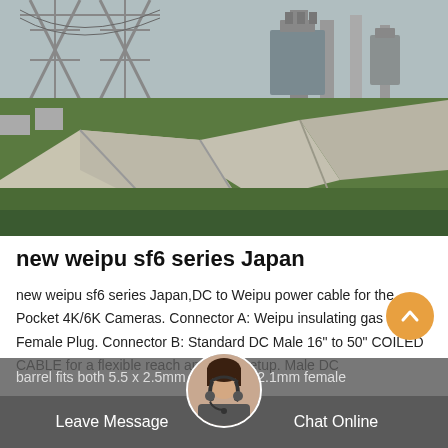[Figure (photo): Outdoor electrical substation with metal lattice structures, transformers, green grass, and concrete walkways]
new weipu sf6 series Japan
new weipu sf6 series Japan,DC to Weipu power cable for the Pocket 4K/6K Cameras. Connector A: Weipu insulating gas 2 Pin Female Plug. Connector B: Standard DC Male 16" to 50" COILED CABLE for a flexible reach and neat setup. Male DC barrel fits both 5.5 x 2.5mm and 2.1mm female
Leave Message   Chat Online